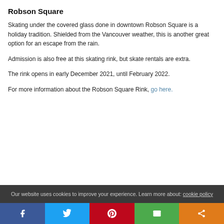Robson Square
Skating under the covered glass done in downtown Robson Square is a holiday tradition. Shielded from the Vancouver weather, this is another great option for an escape from the rain.
Admission is also free at this skating rink, but skate rentals are extra.
The rink opens in early December 2021, until February 2022.
For more information about the Robson Square Rink, go here.
Our website uses cookies to improve your experience. Learn more about: cookie policy
Social share bar: Facebook, Twitter, Pinterest, Email, More